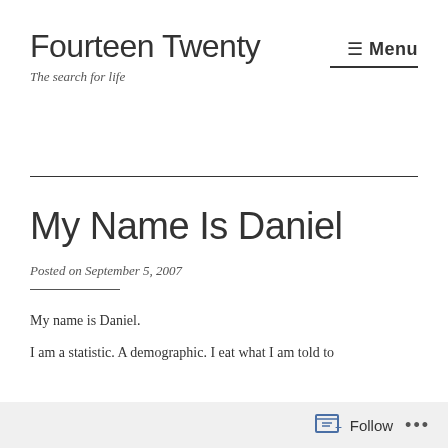Fourteen Twenty
The search for life
My Name Is Daniel
Posted on September 5, 2007
My name is Daniel.
I am a statistic. A demographic. I eat what I am told to
Follow ...